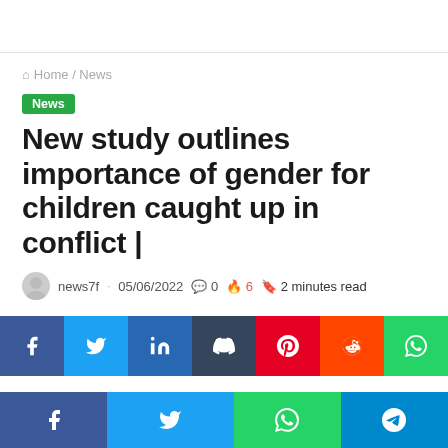Home / News
News
New study outlines importance of gender for children caught up in conflict |
news7f · 05/06/2022 · 0 · 6 · 2 minutes read
[Figure (other): Social media share buttons: Facebook, Twitter, LinkedIn, Tumblr, Pinterest, Reddit, WhatsApp]
Facebook, Twitter, WhatsApp, Telegram share bar